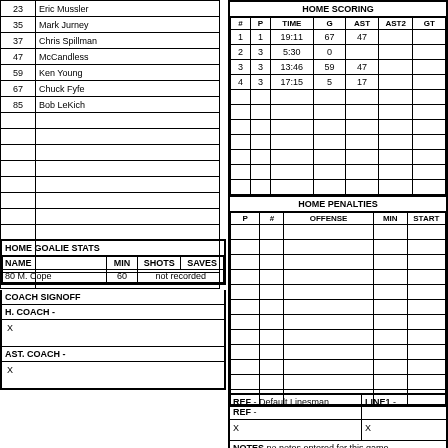| # | NAME |
| --- | --- |
| 23 | Eric Mussler |
| 35 | Mark Jurney |
| 37 | Chris Spillman |
| 47 | McCandless |
| 59 | Ken Young |
| 67 | Chuck Fyfe |
| 85 | Bob LeKich |
|  |  |
|  |  |
|  |  |
|  |  |
|  |  |
|  |  |
|  |  |
|  |  |
|  |  |
|  |  |
|  |  |
| # | P | TIME | G | AST | AST2 | GT |
| --- | --- | --- | --- | --- | --- | --- |
| 1 | 1 | 19:11 | 67 | 47 |  |  |
| 2 | 3 | 5:30 | 0 |  |  |  |
| 3 | 3 | 13:46 | 59 | 47 |  |  |
| 4 | 3 | 17:15 | 5 | 17 |  |  |
|  |  |  |  |  |  |  |
|  |  |  |  |  |  |  |
|  |  |  |  |  |  |  |
|  |  |  |  |  |  |  |
|  |  |  |  |  |  |  |
|  |  |  |  |  |  |  |
|  |  |  |  |  |  |  |
HOME GOALIE STATS
| NAME | MIN | SHOTS | SAVES |
| --- | --- | --- | --- |
| 80 M. Cope | 60 | not recorded |  |
COACH SIGNOFF
H. COACH -
X
AST. COACH -
X
| P | # | OFFENSE | MIN | START |
| --- | --- | --- | --- | --- |
|  |  |  |  |  |
|  |  |  |  |  |
|  |  |  |  |  |
|  |  |  |  |  |
|  |  |  |  |  |
|  |  |  |  |  |
|  |  |  |  |  |
|  |  |  |  |  |
|  |  |  |  |  |
|  |  |  |  |  |
|  |  |  |  |  |
|  |  |  |  |  |
REF - Default Linesman
REF -
LINE1 -
X
X
NOTES no notes entered for this game